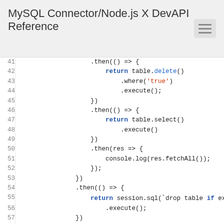MySQL Connector/Node.js X DevAPI Reference
[Figure (screenshot): Code editor screenshot showing JavaScript code lines 41-64 with syntax highlighting, including table.delete(), table.select(), session.sql() and session.close() calls in a promise chain.]